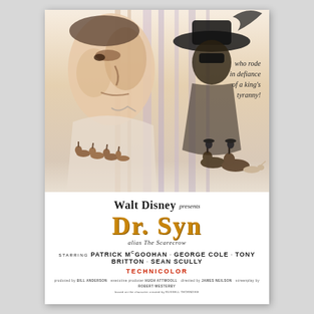[Figure (illustration): Movie poster for Walt Disney's Dr. Syn alias The Scarecrow. Top portion shows a painted illustration of a man's face in profile on the left, a masked figure in a wide-brimmed hat in the upper right, horsemen riding in the lower left background, and riders on horseback in the lower right. Italic text on the right reads 'who rode in defiance of a king's tyranny!']
who rode in defiance of a king's tyranny!
Walt Disney presents Dr. Syn alias The Scarecrow
PATRICK McGOOHAN · GEORGE COLE · TONY BRITTON · SEAN SCULLY
TECHNICOLOR
BILL ANDERSON / HUGH ATTWOOLL / JAMES NEILSON / ROBERT WESTERBY